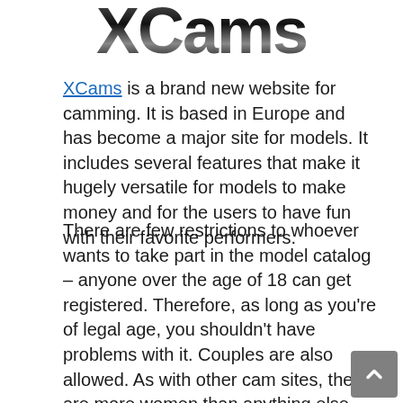[Figure (logo): XCams logo in large bold metallic/gradient text]
XCams is a brand new website for camming. It is based in Europe and has become a major site for models. It includes several features that make it hugely versatile for models to make money and for the users to have fun with their favorite performers.
There are few restrictions to whoever wants to take part in the model catalog – anyone over the age of 18 can get registered. Therefore, as long as you're of legal age, you shouldn't have problems with it. Couples are also allowed. As with other cam sites, there are more women than anything else.